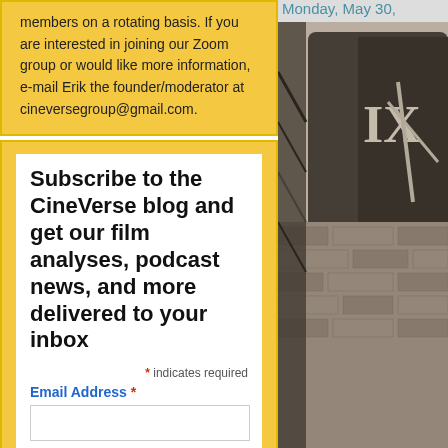members on a rotating basis. If you are interested in joining our Zoom group or would like more information, e-mail Erik the founder/moderator at cineversegroup@gmail.com.
Subscribe to the CineVerse blog and get our film analyses, podcast news, and more delivered to your inbox
* indicates required
Email Address *
Subscribe
made with mailchimp
Monday, May 30,